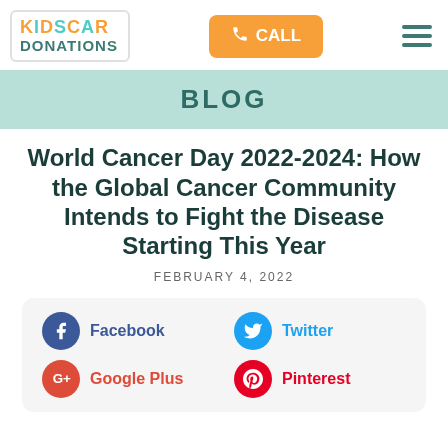KIDS CAR DONATIONS | CALL | Menu
BLOG
World Cancer Day 2022-2024: How the Global Cancer Community Intends to Fight the Disease Starting This Year
FEBRUARY 4, 2022
Facebook | Twitter | Google Plus | Pinterest